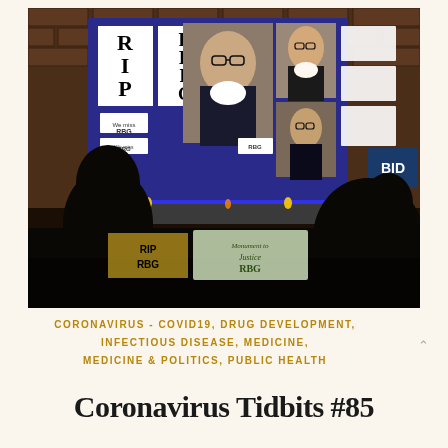[Figure (photo): Nighttime outdoor memorial for Ruth Bader Ginsburg (RBG). A lit display board shows portraits of RBG with signs reading 'RIP RBG' and 'We miss RBG'. Silhouettes of people stand in front of candles. A sign below reads 'Monument to Justice RBG'.]
CORONAVIRUS - COVID19, DRUG DEVELOPMENT, INFECTIOUS DISEASE, MEDICINE, MEDICINE & POLITICS, PUBLIC HEALTH
Coronavirus Tidbits #85